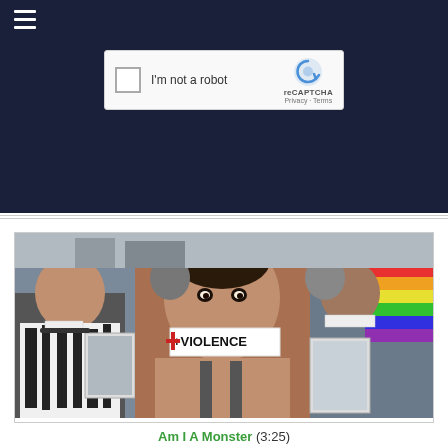☰ (navigation hamburger menu)
[Figure (screenshot): reCAPTCHA widget showing 'I'm not a robot' checkbox with reCAPTCHA branding, Privacy · Terms links, on a dark navy blue background]
[Figure (photo): Protest photo showing activists with tape over their mouths reading '#VIOLENCE'. The central figure is a woman of color facing the camera with tape across her mouth. Other protesters hold photos and rainbow flags in the background.]
Am I A Monster (3:25)
Poem: Am I A Monster